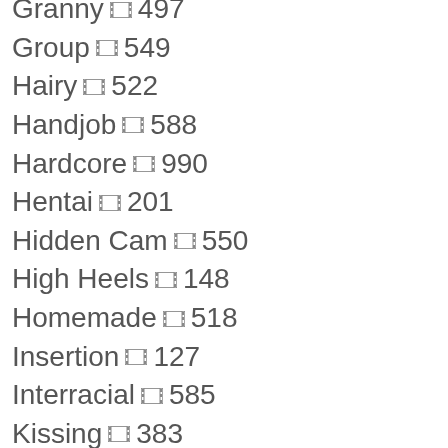Granny 497
Group 549
Hairy 522
Handjob 588
Hardcore 990
Hentai 201
Hidden Cam 550
High Heels 148
Homemade 518
Insertion 127
Interracial 585
Kissing 383
Latex 308
Lesbian 554
Lick 523
Lingerie 543
Machines 102